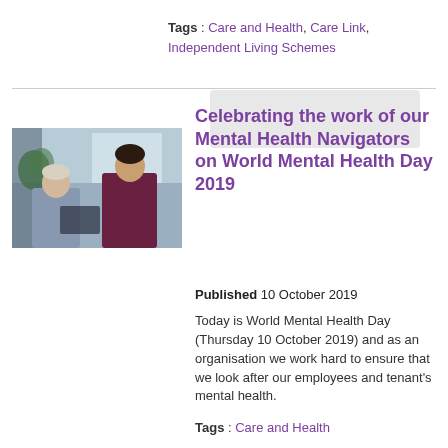Tags : Care and Health, Care Link, Independent Living Schemes
[Figure (photo): Two women sitting and talking, one in a blue top and one in a dark red/maroon top, in what appears to be an office or care setting]
Celebrating the work of our Mental Health Navigators on World Mental Health Day 2019
Published 10 October 2019
Today is World Mental Health Day (Thursday 10 October 2019) and as an organisation we work hard to ensure that we look after our employees and tenant's mental health.
Tags : Care and Health